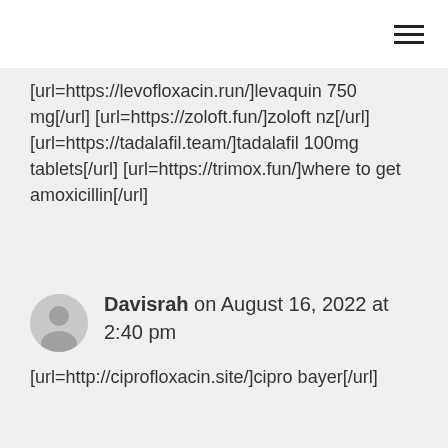[url=https://levofloxacin.run/]levaquin 750 mg[/url] [url=https://zoloft.fun/]zoloft nz[/url] [url=https://tadalafil.team/]tadalafil 100mg tablets[/url] [url=https://trimox.fun/]where to get amoxicillin[/url]
Davisrah on August 16, 2022 at 2:40 pm
[url=http://ciprofloxacin.site/]cipro bayer[/url]